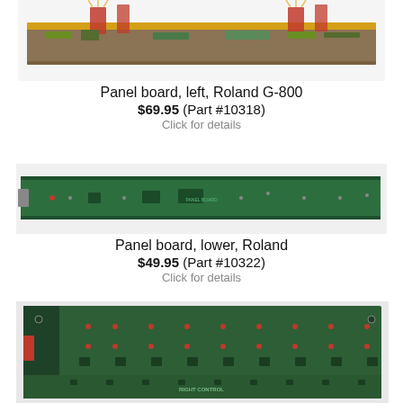[Figure (photo): Photo of a panel board, left, Roland G-800 circuit board with ribbon cables]
Panel board, left, Roland G-800
$69.95 (Part #10318)
Click for details
[Figure (photo): Photo of a panel board, lower, Roland — long green PCB strip]
Panel board, lower, Roland
$49.95 (Part #10322)
Click for details
[Figure (photo): Photo of a right control board, Roland — large green PCB with components]